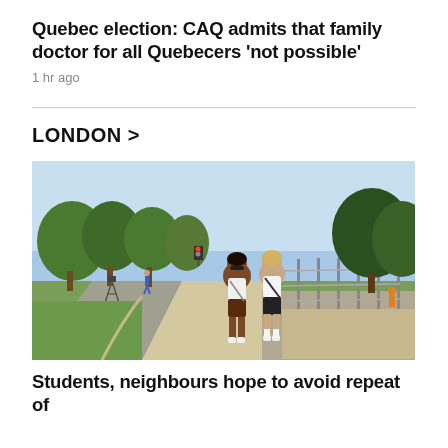Quebec election: CAQ admits that family doctor for all Quebecers 'not possible'
1 hr ago
LONDON >
[Figure (photo): Two young women walking on a sidewalk path next to a road with construction fencing on the right and trees in the background on a sunny day.]
Students, neighbours hope to avoid repeat of